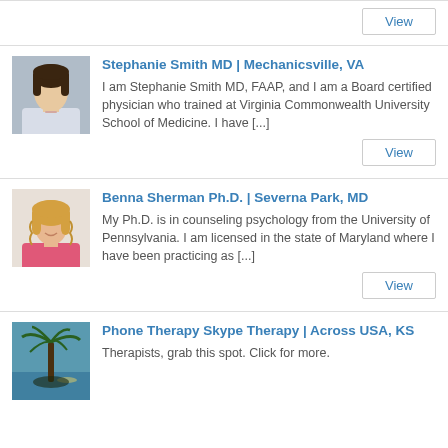[Figure (photo): View button at top of page (partial card)]
[Figure (photo): Headshot of Stephanie Smith MD]
Stephanie Smith MD | Mechanicsville, VA
I am Stephanie Smith MD, FAAP, and I am a Board certified physician who trained at Virginia Commonwealth University School of Medicine. I have [...]
[Figure (photo): View button for Stephanie Smith]
[Figure (photo): Headshot of Benna Sherman Ph.D.]
Benna Sherman Ph.D. | Severna Park, MD
My Ph.D. is in counseling psychology from the University of Pennsylvania. I am licensed in the state of Maryland where I have been practicing as [...]
[Figure (photo): View button for Benna Sherman]
[Figure (photo): Landscape/palm tree photo for Phone Therapy Skype Therapy listing]
Phone Therapy Skype Therapy | Across USA, KS
Therapists, grab this spot. Click for more.